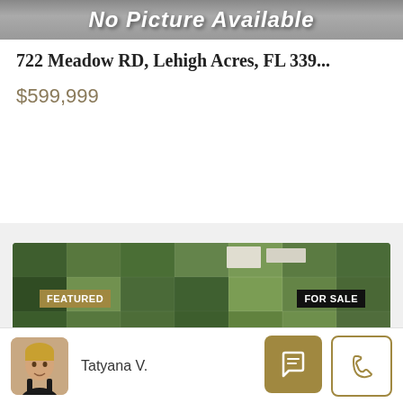[Figure (photo): No Picture Available banner - gray gradient banner with white italic bold text]
722 Meadow RD, Lehigh Acres, FL 339...
$599,999
[Figure (map): Aerial satellite map of Lehigh Acres FL showing grid of land parcels with a blue location pin marker, FEATURED badge in gold, FOR SALE badge in black, road 846 visible at bottom]
Tatyana V.